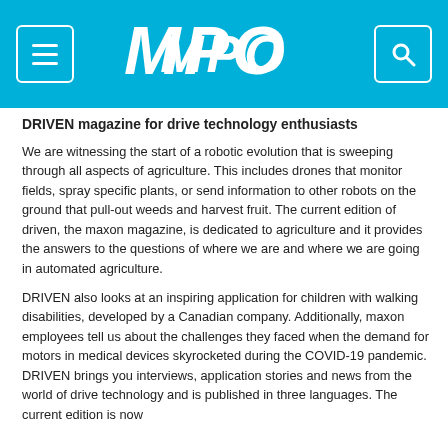MPO
DRIVEN magazine for drive technology enthusiasts
We are witnessing the start of a robotic evolution that is sweeping through all aspects of agriculture. This includes drones that monitor fields, spray specific plants, or send information to other robots on the ground that pull-out weeds and harvest fruit. The current edition of driven, the maxon magazine, is dedicated to agriculture and it provides the answers to the questions of where we are and where we are going in automated agriculture.
DRIVEN also looks at an inspiring application for children with walking disabilities, developed by a Canadian company. Additionally, maxon employees tell us about the challenges they faced when the demand for motors in medical devices skyrocketed during the COVID-19 pandemic. DRIVEN brings you interviews, application stories and news from the world of drive technology and is published in three languages. The current edition is now